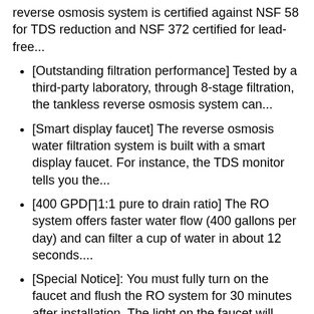reverse osmosis system is certified against NSF 58 for TDS reduction and NSF 372 certified for lead-free...
[Outstanding filtration performance] Tested by a third-party laboratory, through 8-stage filtration, the tankless reverse osmosis system can...
[Smart display faucet] The reverse osmosis water filtration system is built with a smart display faucet. For instance, the TDS monitor tells you the...
[400 GPD∏1:1 pure to drain ratio] The RO system offers faster water flow (400 gallons per day) and can filter a cup of water in about 12 seconds....
[Special Notice]: You must fully turn on the faucet and flush the RO system for 30 minutes after installation. The light on the faucet will flash blue...